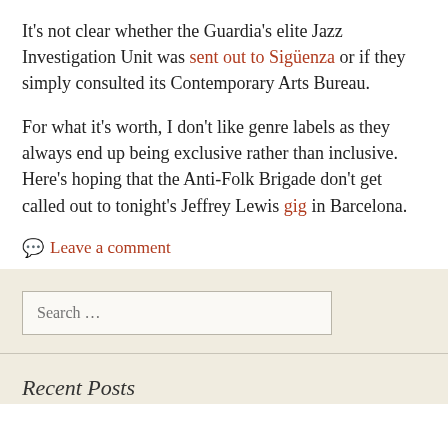It's not clear whether the Guardia's elite Jazz Investigation Unit was sent out to Sigüenza or if they simply consulted its Contemporary Arts Bureau.
For what it's worth, I don't like genre labels as they always end up being exclusive rather than inclusive. Here's hoping that the Anti-Folk Brigade don't get called out to tonight's Jeffrey Lewis gig in Barcelona.
Leave a comment
Search …
Recent Posts